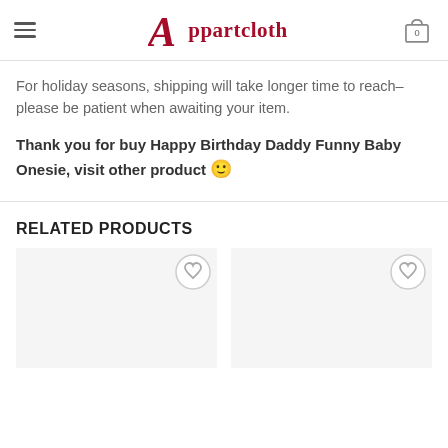Appartcloth
For holiday seasons, shipping will take longer time to reach–please be patient when awaiting your item.
Thank you for buy Happy Birthday Daddy Funny Baby Onesie, visit other product 🙂
RELATED PRODUCTS
[Figure (other): Two related product cards with wishlist (heart) buttons, product images not loaded.]